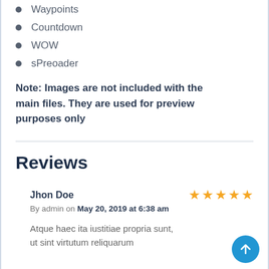Waypoints
Countdown
WOW
sPreoader
Note: Images are not included with the main files. They are used for preview purposes only
Reviews
Jhon Doe — By admin on May 20, 2019 at 6:38 am — Rating: 5 stars — Atque haec ita iustitiae propria sunt, ut sint virtutum reliquarum